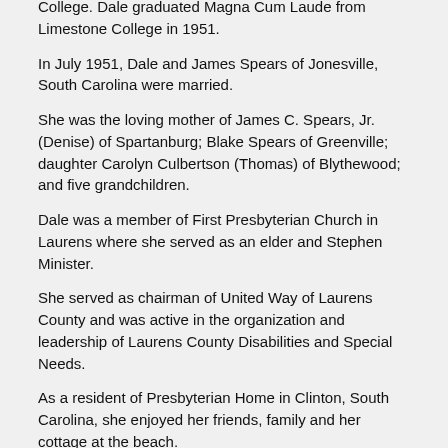College.  Dale graduated Magna Cum Laude from Limestone College in 1951.
In July 1951, Dale and James Spears of Jonesville, South Carolina were married.
She was the loving mother of James C. Spears, Jr. (Denise) of Spartanburg; Blake Spears of Greenville; daughter Carolyn Culbertson (Thomas) of Blythewood; and five grandchildren.
Dale was a member of First Presbyterian Church in Laurens where she served as an elder and Stephen Minister.
She served as chairman of United Way of Laurens County and was active in the organization and leadership of Laurens County Disabilities and Special Needs.
As a resident of Presbyterian Home in Clinton, South Carolina, she enjoyed her friends, family and her cottage at the beach.
Memorials may be made to Presbyterian Home of Clinton, 801 Musgrove Street, Clinton, SC 29325 or First Presbyterian Church, 400 West Main Street, Laurens, SC 29360.
Condolences may be expressed to the family at